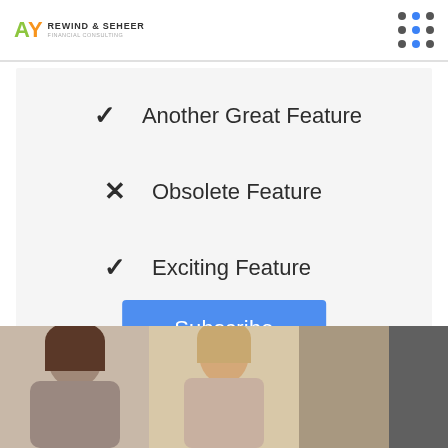AY Rewind & Seheer
✓ Another Great Feature
✗ Obsolete Feature
✓ Exciting Feature
Subscribe
[Figure (photo): Three photos of people, partially visible at the bottom of the page]